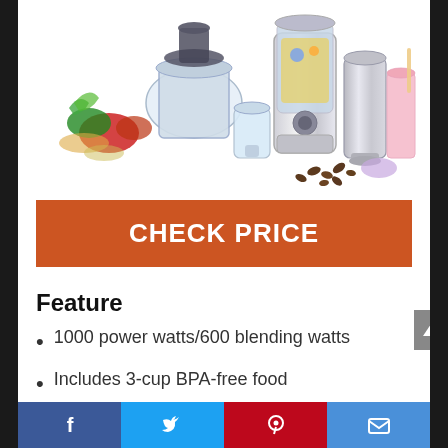[Figure (photo): Product photo showing a chrome blender with multiple attachments including a food processor bowl, mini chopper, stainless steel cup, personal blender jar, a pink smoothie glass, coffee beans scattered around, and fresh vegetables/fruits in the background.]
CHECK PRICE
Feature
1000 power watts/600 blending watts
Includes 3-cup BPA-free food